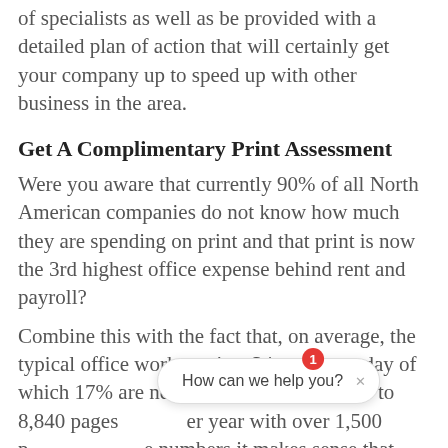of specialists as well as be provided with a detailed plan of action that will certainly get your company up to speed up with other business in the area.
Get A Complimentary Print Assessment
Were you aware that currently 90% of all North American companies do not know how much they are spending on print and that print is now the 3rd highest office expense behind rent and payroll? Combine this with the fact that, on average, the typical office worker prints 34 pages per day of which 17% are never used. That translates to 8,840 pages per year with over 1,500 p...e numbers it makes sense that more companies are exploring